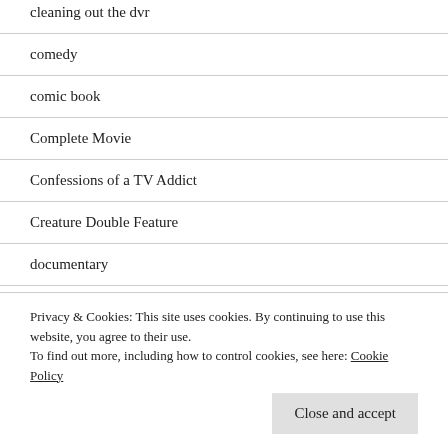cleaning out the dvr
comedy
comic book
Complete Movie
Confessions of a TV Addict
Creature Double Feature
documentary
Drive-In Saturday Night
Privacy & Cookies: This site uses cookies. By continuing to use this website, you agree to their use.
To find out more, including how to control cookies, see here: Cookie Policy
Close and accept